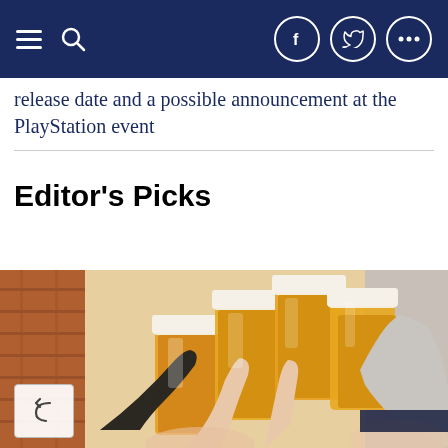[Navigation bar with hamburger menu, search icon, Facebook, Twitter, and more social icons]
release date and a possible announcement at the PlayStation event
Editor's Picks
[Figure (photo): Multiple hands clinking large beer mugs together in a toast over a bright background, with people smiling in the scene. Brick wall visible in background.]